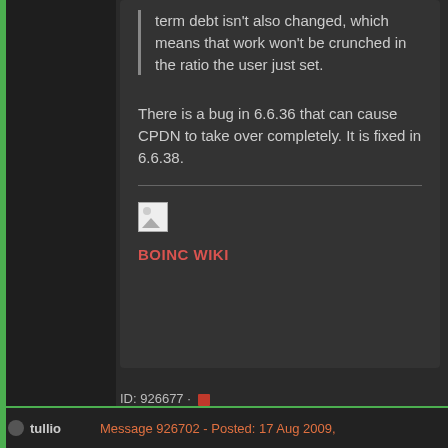term debt isn't also changed, which means that work won't be crunched in the ratio the user just set.
There is a bug in 6.6.36 that can cause CPDN to take over completely. It is fixed in 6.6.38.
[Figure (other): Broken image icon placeholder]
BOINC WIKI
ID: 926677 ·
tullio
Message 926702 - Posted: 17 Aug 2009,